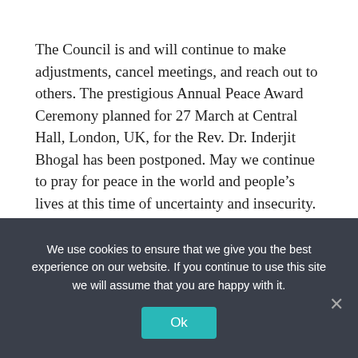The Council is and will continue to make adjustments, cancel meetings, and reach out to others. The prestigious Annual Peace Award Ceremony planned for 27 March at Central Hall, London, UK, for the Rev. Dr. Inderjit Bhogal has been postponed. May we continue to pray for peace in the world and people's lives at this time of uncertainty and insecurity.
As the Council receives communications and information regarding the COVID-19, we are aware of the significant challenges arising daily.  The virus is spreading rapidly, and there are
We use cookies to ensure that we give you the best experience on our website. If you continue to use this site we will assume that you are happy with it.